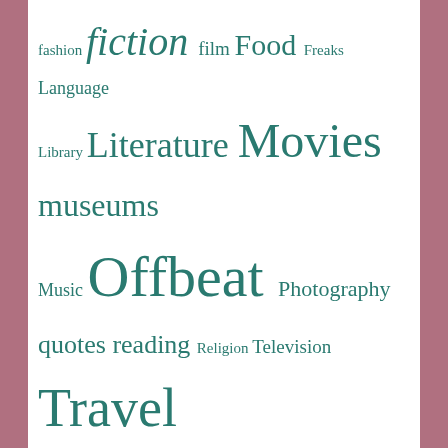[Figure (infographic): Tag cloud with words of varying sizes in teal/dark cyan color on white background. Words include: fashion, fiction, film, Food, Freaks, Language, Library, Literature, Movies, museums, Music, Offbeat, Photography, quotes, reading, Religion, Television, Travel, Uncategorized, Weather, Writing]
Recent posts
Sole searching
Rewards of the return visit
Continuous pleasure of Procrastination